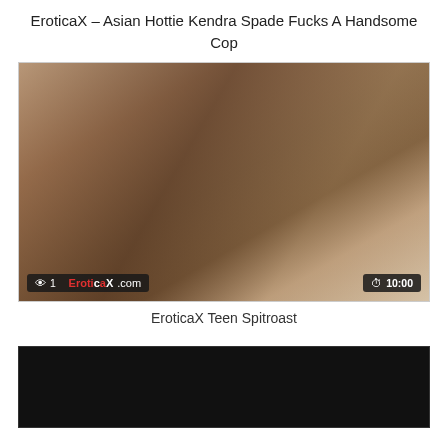EroticaX – Asian Hottie Kendra Spade Fucks A Handsome Cop
[Figure (photo): Video thumbnail showing two people on a bed. Overlay shows view count '1' on bottom left with EroticaX.com watermark, and duration '10:00' on bottom right.]
EroticaX Teen Spitroast
[Figure (photo): Dark/black video thumbnail, partially visible at bottom of page.]